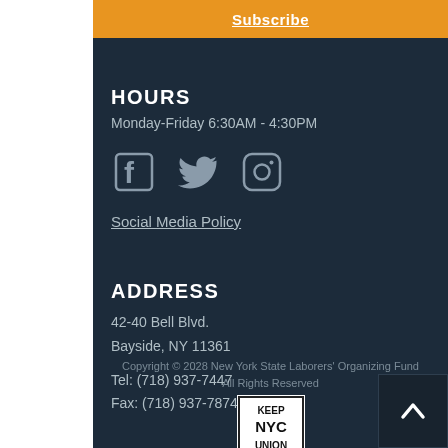Subscribe
HOURS
Monday-Friday 6:30AM - 4:30PM
[Figure (illustration): Social media icons: Facebook, Twitter, Instagram]
Social Media Policy
ADDRESS
42-40 Bell Blvd.
Bayside, NY 11361
Tel:  (718) 937-7447
Fax:  (718) 937-7874
Copyright © 2028 New York State Laborers' Organizing Fund
All Rights Reserved
[Figure (logo): Keep NYC Union logo — white box with black border and bold text reading KEEP NYC UNION]